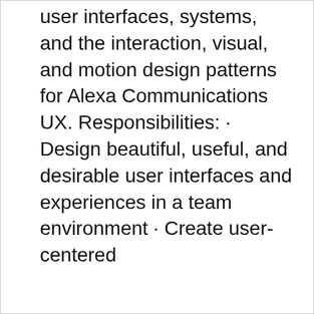user interfaces, systems, and the interaction, visual, and motion design patterns for Alexa Communications UX. Responsibilities: · Design beautiful, useful, and desirable user interfaces and experiences in a team environment · Create user-centered